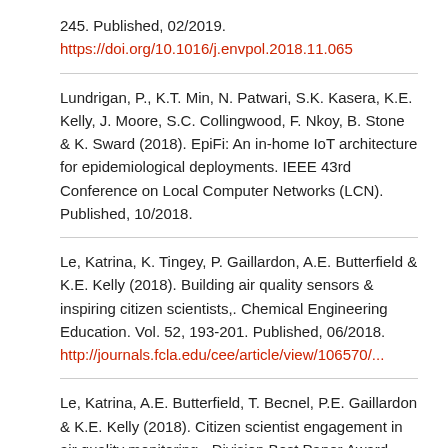245. Published, 02/2019.
https://doi.org/10.1016/j.envpol.2018.11.065
Lundrigan, P., K.T. Min, N. Patwari, S.K. Kasera, K.E. Kelly, J. Moore, S.C. Collingwood, F. Nkoy, B. Stone & K. Sward (2018). EpiFi: An in-home IoT architecture for epidemiological deployments. IEEE 43rd Conference on Local Computer Networks (LCN). Published, 10/2018.
Le, Katrina, K. Tingey, P. Gaillardon, A.E. Butterfield & K.E. Kelly (2018). Building air quality sensors & inspiring citizen scientists,. Chemical Engineering Education. Vol. 52, 193-201. Published, 06/2018.
http://journals.fcla.edu/cee/article/view/106570/...
Le, Katrina, A.E. Butterfield, T. Becnel, P.E. Gaillardon & K.E. Kelly (2018). Citizen scientist engagement in air quality monitoring - Division Best Paper Award. ASEE, Proceedings Annual Meeting. Published, 06/2018.